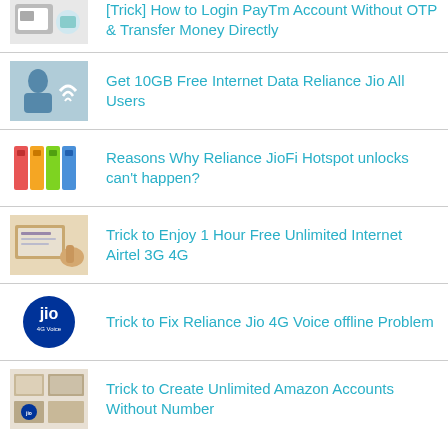[Trick] How to Login PayTm Account Without OTP & Transfer Money Directly
Get 10GB Free Internet Data Reliance Jio All Users
Reasons Why Reliance JioFi Hotspot unlocks can't happen?
Trick to Enjoy 1 Hour Free Unlimited Internet Airtel 3G 4G
Trick to Fix Reliance Jio 4G Voice offline Problem
Trick to Create Unlimited Amazon Accounts Without Number